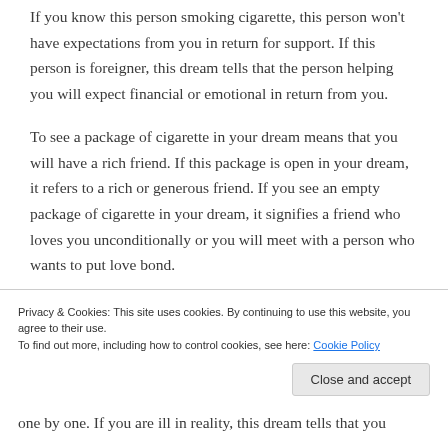If you know this person smoking cigarette, this person won't have expectations from you in return for support. If this person is foreigner, this dream tells that the person helping you will expect financial or emotional in return from you.
To see a package of cigarette in your dream means that you will have a rich friend. If this package is open in your dream, it refers to a rich or generous friend. If you see an empty package of cigarette in your dream, it signifies a friend who loves you unconditionally or you will meet with a person who wants to put love bond.
To see a broken cigarette in your dream forewarns you that you will have a small health problem but this problem will one by one. If you are ill in reality, this dream tells that you
Privacy & Cookies: This site uses cookies. By continuing to use this website, you agree to their use.
To find out more, including how to control cookies, see here: Cookie Policy
Close and accept